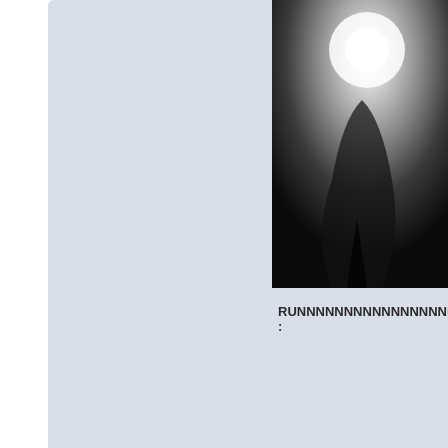[Figure (photo): Dark dramatic photo cropped at top, bright light source visible, high contrast black and white tones]
RUNNNNNNNNNNNNNNNNN : 😦
BE GREEEEEEEEEEEEEEEEEDY O 💲
☐ Oly Shyte
Duke
[Figure (illustration): Green alien head avatar]
Re: DR KIM NEXGRAM IN DEEP S+H+I+T NOW! LOSE MONEY!
« Reply #693 on: April 11, 2018, 08:46:24 PM »
😬 👍
Disclaimer: Every "I EAT" thread created were to does not represent any stock promotion, buy, hol Please make your own decision wisely! - OLY Se